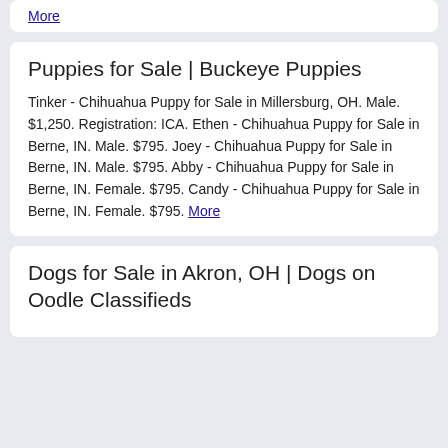Puppies for Sale | Buckeye Puppies
Tinker - Chihuahua Puppy for Sale in Millersburg, OH. Male. $1,250. Registration: ICA. Ethen - Chihuahua Puppy for Sale in Berne, IN. Male. $795. Joey - Chihuahua Puppy for Sale in Berne, IN. Male. $795. Abby - Chihuahua Puppy for Sale in Berne, IN. Female. $795. Candy - Chihuahua Puppy for Sale in Berne, IN. Female. $795. More
Dogs for Sale in Akron, OH | Dogs on Oodle Classifieds